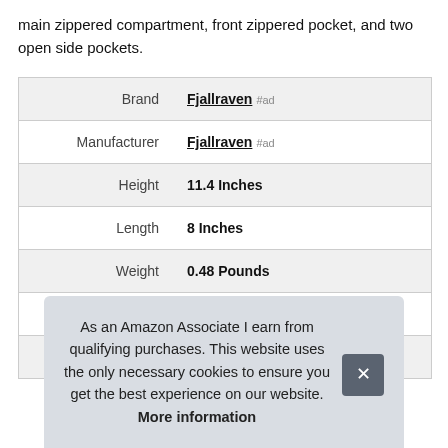main zippered compartment, front zippered pocket, and two open side pockets.
|  |  |
| --- | --- |
| Brand | Fjallraven #ad |
| Manufacturer | Fjallraven #ad |
| Height | 11.4 Inches |
| Length | 8 Inches |
| Weight | 0.48 Pounds |
| Width | 3 Inches |
| Part Number | F23561-Black |
As an Amazon Associate I earn from qualifying purchases. This website uses the only necessary cookies to ensure you get the best experience on our website. More information